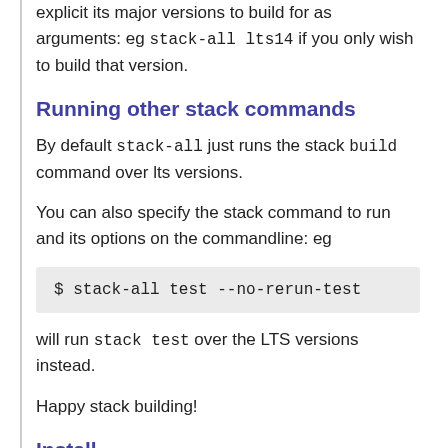explicit its major versions to build for as arguments: eg stack-all lts14 if you only wish to build that version.
Running other stack commands
By default stack-all just runs the stack build command over lts versions.
You can also specify the stack command to run and its options on the commandline: eg
$ stack-all test --no-rerun-test
will run stack test over the LTS versions instead.
Happy stack building!
Install